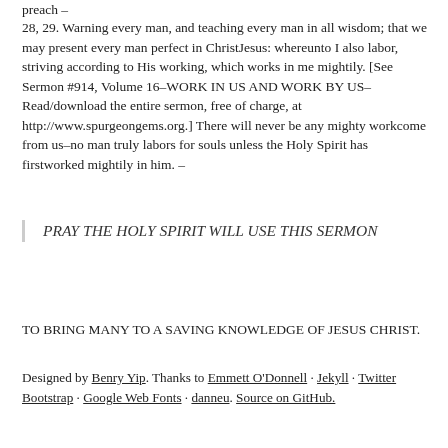preach –
28, 29. Warning every man, and teaching every man in all wisdom; that we may present every man perfect in ChristJesus: whereunto I also labor, striving according to His working, which works in me mightily. [See Sermon #914, Volume 16–WORK IN US AND WORK BY US–Read/download the entire sermon, free of charge, at http://www.spurgeongems.org.] There will never be any mighty workcome from us–no man truly labors for souls unless the Holy Spirit has firstworked mightily in him. –
PRAY THE HOLY SPIRIT WILL USE THIS SERMON
TO BRING MANY TO A SAVING KNOWLEDGE OF JESUS CHRIST.
Designed by Benry Yip. Thanks to Emmett O'Donnell · Jekyll · Twitter Bootstrap · Google Web Fonts · danneu. Source on GitHub.